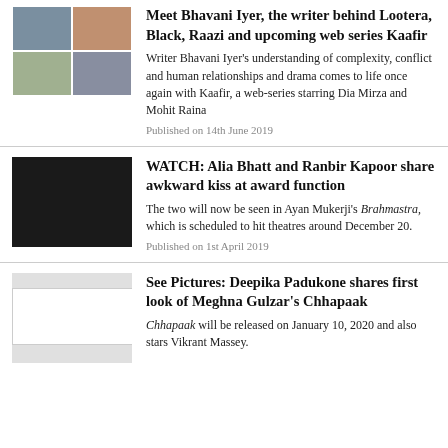[Figure (photo): Collage of four photos in a 2x2 grid: top-left shows a woman in blue jacket, top-right shows colorful scene, bottom-left shows a portrait, bottom-right shows another scene]
Meet Bhavani Iyer, the writer behind Lootera, Black, Raazi and upcoming web series Kaafir
Writer Bhavani Iyer's understanding of complexity, conflict and human relationships and drama comes to life once again with Kaafir, a web-series starring Dia Mirza and Mohit Raina
Published on 14th June 2019
[Figure (photo): Dark photo showing Alia Bhatt and Ranbir Kapoor sharing an awkward moment at an award function against a black background]
WATCH: Alia Bhatt and Ranbir Kapoor share awkward kiss at award function
The two will now be seen in Ayan Mukerji's Brahmastra, which is scheduled to hit theatres around December 20.
Published on 1st April 2019
[Figure (photo): White placeholder/blank image thumbnail]
See Pictures: Deepika Padukone shares first look of Meghna Gulzar's Chhapaak
Chhapaak will be released on January 10, 2020 and also stars Vikrant Massey.